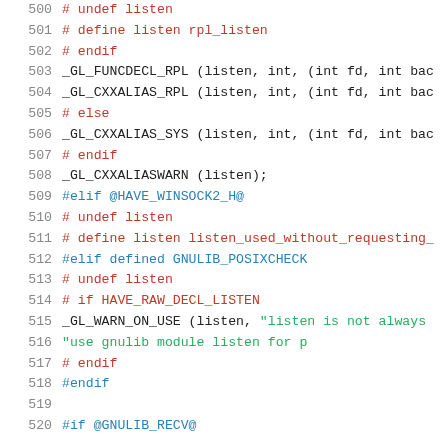Source code listing, lines 500-520, C header file with preprocessor directives for listen/recv socket functions using gnulib macros.